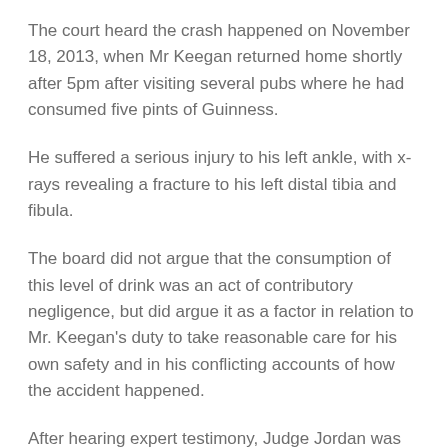The court heard the crash happened on November 18, 2013, when Mr Keegan returned home shortly after 5pm after visiting several pubs where he had consumed five pints of Guinness.
He suffered a serious injury to his left ankle, with x-rays revealing a fracture to his left distal tibia and fibula.
The board did not argue that the consumption of this level of drink was an act of contributory negligence, but did argue it as a factor in relation to Mr. Keegan's duty to take reasonable care for his own safety and in his conflicting accounts of how the accident happened.
After hearing expert testimony, Judge Jordan was convinced that unglazed tiles presented no danger.
Related Posts: